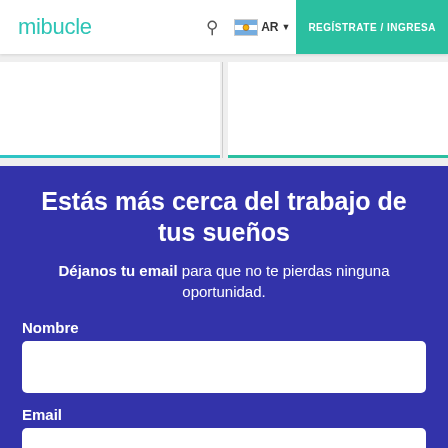mibucle  AR  REGÍSTRATE / INGRESA
[Figure (screenshot): Two white card panels side by side with teal bottom borders on a light grey background]
Estás más cerca del trabajo de tus sueños
Déjanos tu email para que no te pierdas ninguna oportunidad.
Nombre
Email
País